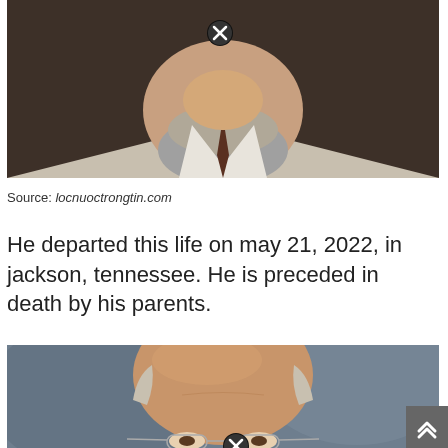[Figure (photo): Partial portrait photo of an older man with a gray beard and white collar shirt, cropped at chin/neck level. A circular close/remove button overlay is visible.]
Source: locnuoctrongtin.com
He departed this life on may 21, 2022, in jackson, tennessee. He is preceded in death by his parents.
[Figure (photo): Portrait photo of an older bald man with glasses, shown from forehead/eyes level against a gray-blue background. A circular close/remove button overlay is visible.]